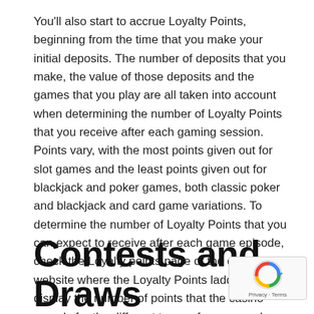You'll also start to accrue Loyalty Points, beginning from the time that you make your initial deposits. The number of deposits that you make, the value of those deposits and the games that you play are all taken into account when determining the number of Loyalty Points that you receive after each gaming session.
Points vary, with the most points given out for slot games and the least points given out for blackjack and poker games, both classic poker and blackjack and card game variations. To determine the number of Loyalty Points that you can expect to receive after each game episode, check the Loyalty points page of the casino's website where the Loyalty Points ladder will display the number of points that the casino awards for the different types of games and activities.
Contests and Draws